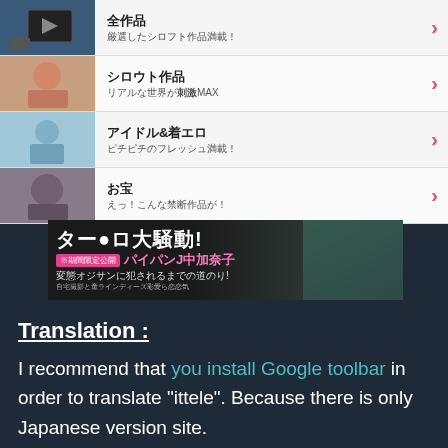全作品 厳選したシロフト作品満載！
シロウト作品 リアルな世界が刺激MAX
アイドル&着エロ ピチピチのフレッシュ満載！
お宝 えっ！こんな禁断作品が！
[Figure (photo): Japanese adult website banner with Japanese text: ターロ大騒動！パイパンJ中加奈子 変態オジサンに犯されるまでの道のり！]
Translation :
I recommend that you install Google toolbar in order to translate "ittele". Because there is only Japanese version site.